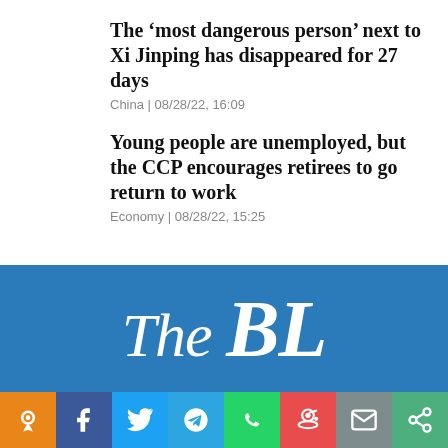The ‘most dangerous person’ next to Xi Jinping has disappeared for 27 days
China | 08/28/22, 16:09
Young people are unemployed, but the CCP encourages retirees to go return to work
Economy | 08/28/22, 15:25
View more
[Figure (logo): The BL logo in white italic text on blue background]
[Figure (infographic): Social media icon bar with icons for notification/pin, Facebook, Twitter, Telegram, WhatsApp, Reddit, email, and share]